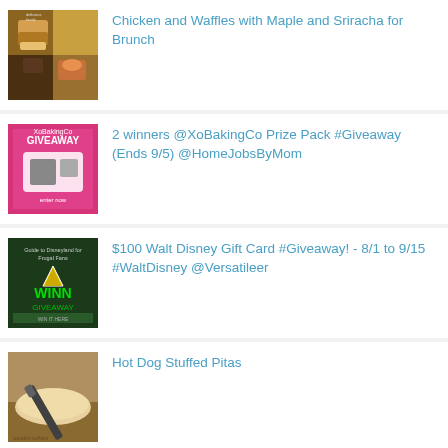Chicken and Waffles with Maple and Sriracha for Brunch
2 winners @XoBakingCo Prize Pack #Giveaway (Ends 9/5) @HomeJobsByMom
$100 Walt Disney Gift Card #Giveaway! - 8/1 to 9/15 #WaltDisney @Versatileer
Hot Dog Stuffed Pitas
Interview with Vince Santoro, author of The Final Crossing: A Tale of Self-Discovery and Adventure